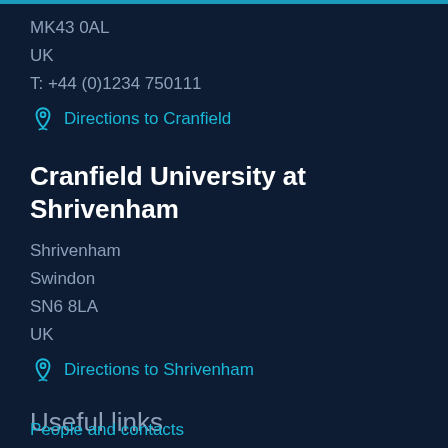MK43 0AL
UK
T: +44 (0)1234 750111
Directions to Cranfield
Cranfield University at Shrivenham
Shrivenham
Swindon
SN6 8LA
UK
Directions to Shrivenham
Useful links
People and contacts